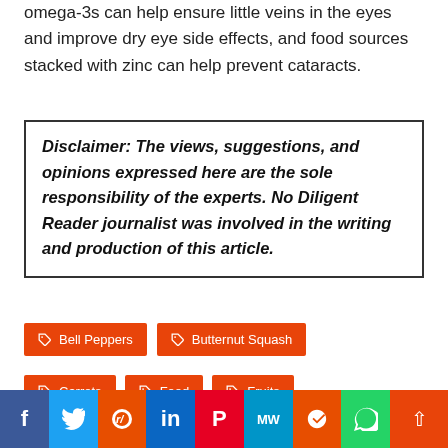omega-3s can help ensure little veins in the eyes and improve dry eye side effects, and food sources stacked with zinc can help prevent cataracts.
Disclaimer: The views, suggestions, and opinions expressed here are the sole responsibility of the experts. No Diligent Reader journalist was involved in the writing and production of this article.
Bell Peppers
Butternut Squash
Carrots
Food
Fruits